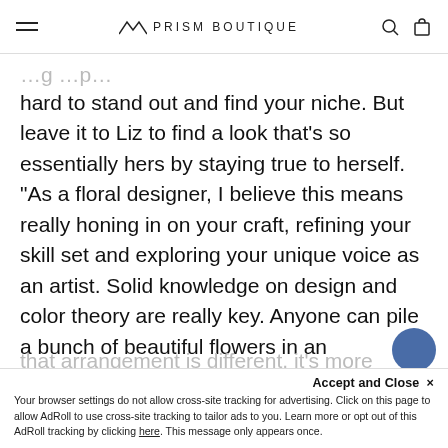≡  ▲▲ PRISM BOUTIQUE  🔍  🛍
hard to stand out and find your niche. But leave it to Liz to find a look that's so essentially hers by staying true to herself. “As a floral designer, I believe this means really honing in on your craft, refining your skill set and exploring your unique voice as an artist. Solid knowledge on design and color theory are really key. Anyone can pile a bunch of beautiful flowers in an arrangement, that’s easy but is that design?”
Liz continues, “When you’re able to design an arrangement that guides the eye around the flowers, where each bloom is nuanced. The way you interact with that arrangement is different, it's more pleas...
...so I try to always seek balance within my work while…
Accept and Close ×
Your browser settings do not allow cross-site tracking for advertising. Click on this page to allow AdRoll to use cross-site tracking to tailor ads to you. Learn more or opt out of this AdRoll tracking by clicking here. This message only appears once.